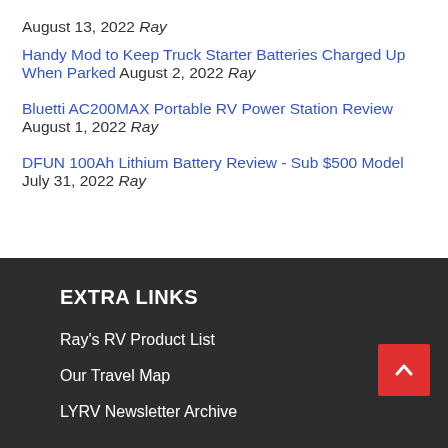August 13, 2022 Ray
Handy Mod to Keep Truck Starter Batteries Charged Up When Parked August 2, 2022 Ray
Bluetti AC200MAX Portable RV Power Station Review August 1, 2022 Ray
DFUN 100Ah Lithium Battery Review - Sub $500 Model July 31, 2022 Ray
EXTRA LINKS
Ray's RV Product List
Our Travel Map
LYRV Newsletter Archive